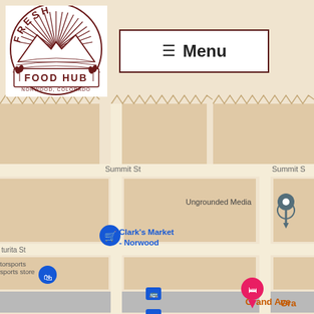[Figure (map): Google Maps screenshot showing street map of Norwood, Colorado area. Shows streets including Summit St, Grand Ave, Pine St, Market St, Naturita St. Points of interest labeled include Blue Grouse Bread, Ungrounded Media, Clark's Market - Norwood, Phillips 66, Hotel Norwood, Grand Ave, The Divide, 4R Storage, Norwood Community Center, Watson Appraisal Services, and motorsports store. Map has tan/beige building blocks with white street corridors, and colored map pins/icons. A Google Street View pegman icon appears in bottom right corner.]
[Figure (logo): Fresh Food Hub Norwood Colorado circular logo with mountain/sun scene and wheat stalks]
Menu